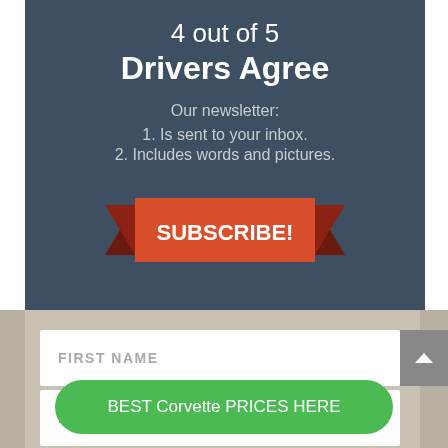4 out of 5 Drivers Agree
Our newsletter:
1. Is sent to your inbox.
2. Includes words and pictures.
[Figure (infographic): Orange ribbon banner with text SUBSCRIBE!]
FIRST NAME
LAST NAME
BEST Corvette PRICES HERE